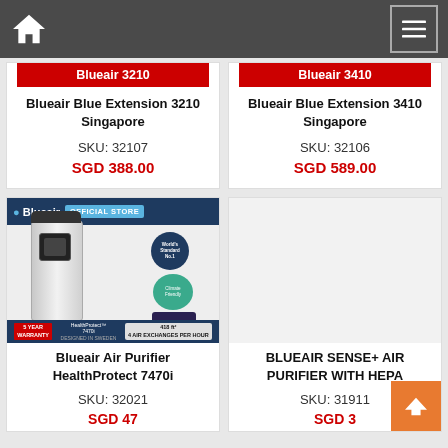Navigation bar with home icon and menu button
Blueair 3210
Blueair Blue Extension 3210 Singapore
SKU: 32107
SGD 388.00
Blueair 3410
Blueair Blue Extension 3410 Singapore
SKU: 32106
SGD 589.00
[Figure (photo): Blueair Air Purifier HealthProtect 7470i product image with official store branding, World Standard No.1 badge, 5 year warranty, 418 ft² coverage]
Blueair Air Purifier HealthProtect 7470i
SKU: 32021
SGD [price cut off]
BLUEAIR SENSE+ AIR PURIFIER WITH HEPA
SKU: 31911
SGD [price cut off]